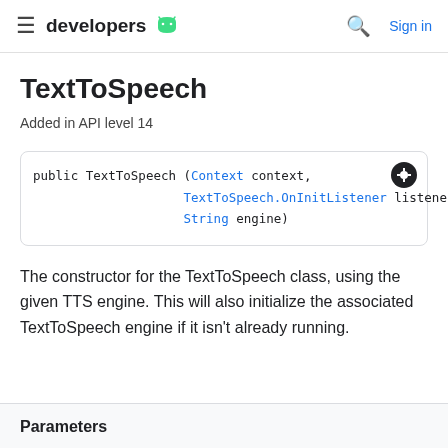developers  Sign in
TextToSpeech
Added in API level 14
public TextToSpeech (Context context,
                    TextToSpeech.OnInitListener listener
                    String engine)
The constructor for the TextToSpeech class, using the given TTS engine. This will also initialize the associated TextToSpeech engine if it isn't already running.
Parameters